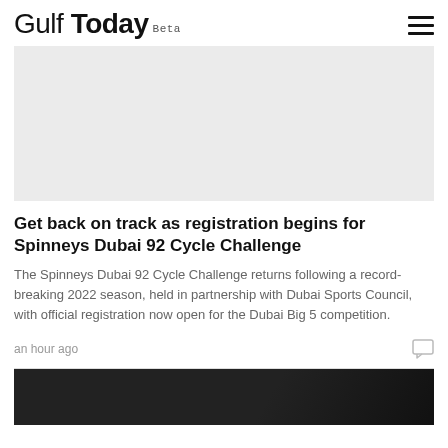Gulf Today Beta
[Figure (other): Grey banner/advertisement placeholder area]
Get back on track as registration begins for Spinneys Dubai 92 Cycle Challenge
The Spinneys Dubai 92 Cycle Challenge returns following a record-breaking 2022 season, held in partnership with Dubai Sports Council, with official registration now open for the Dubai Big 5 competition.
an hour ago
[Figure (photo): Partial image at bottom of page, dark background suggesting a sports/cycling photo]